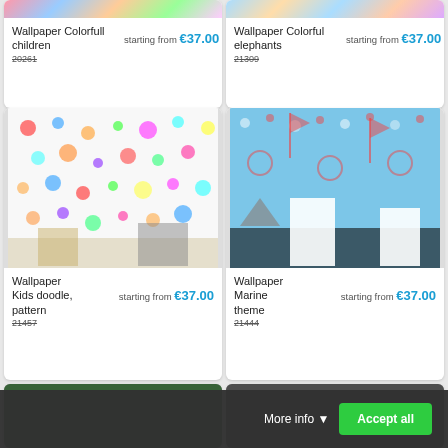[Figure (photo): Wallpaper Colorfull children product image (partially visible at top)]
Wallpaper Colorfull children
starting from €37.00
20261
[Figure (photo): Wallpaper Colorful elephants product image (partially visible at top)]
Wallpaper Colorful elephants
starting from €37.00
21309
[Figure (photo): Wallpaper Kids doodle pattern - colorful doodles on white background in children's room]
Wallpaper Kids doodle, pattern
starting from €37.00
21457
[Figure (photo): Wallpaper Marine theme - blue nautical pattern with lighthouse in children's room]
Wallpaper Marine theme
starting from €37.00
21444
[Figure (photo): Wallpaper bottom left partially visible - dark green emoji pattern]
[Figure (photo): Wallpaper bottom right partially visible - dark emoji pattern]
More info
Accept all